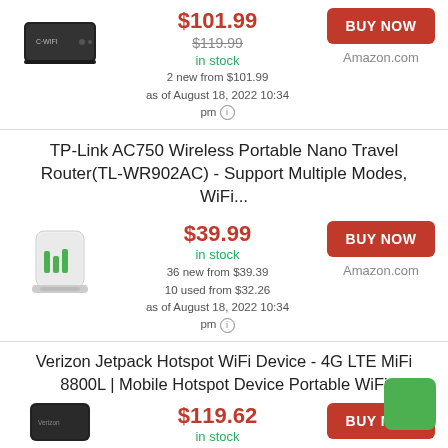[Figure (photo): Black portable WiFi router device]
$101.99
$119.99
in stock
2 new from $101.99
as of August 18, 2022 10:34 pm
BUY NOW
Amazon.com
TP-Link AC750 Wireless Portable Nano Travel Router(TL-WR902AC) - Support Multiple Modes, WiFi...
[Figure (photo): White compact TP-Link wireless nano travel router]
$39.99
in stock
36 new from $39.39
10 used from $32.26
as of August 18, 2022 10:34 pm
BUY NOW
Amazon.com
Verizon Jetpack Hotspot WiFi Device - 4G LTE MiFi 8800L | Mobile Hotspot Device Portable WiFi
[Figure (photo): Black Verizon Jetpack MiFi 8800L mobile hotspot device (partially visible)]
$119.62
in stock
BUY NOW